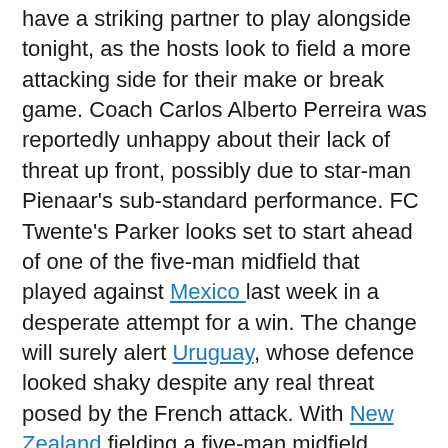have a striking partner to play alongside tonight, as the hosts look to field a more attacking side for their make or break game. Coach Carlos Alberto Perreira was reportedly unhappy about their lack of threat up front, possibly due to star-man Pienaar's sub-standard performance. FC Twente's Parker looks set to start ahead of one of the five-man midfield that played against Mexico last week in a desperate attempt for a win. The change will surely alert Uruguay, whose defence looked shaky despite any real threat posed by the French attack. With New Zealand fielding a five-man midfield against Slovakia for their well earned point, it shows tactically that flooding the middle is a good option for the teams with slightly less quality. But as Perreira's CV indicates, his vast experience of managing Brazil for a total of seven years shows he won't be afraid of turning up the pressure to get a result
Off the field there was controversy about not only the ball the games are played with but the crowd in attendance. There